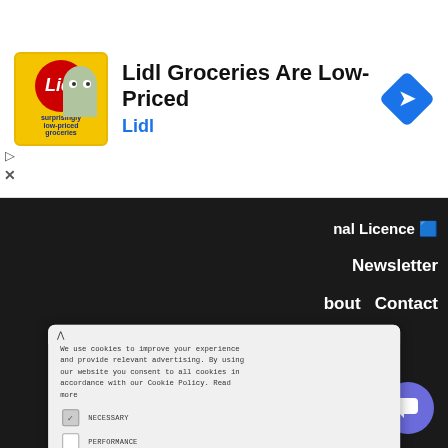[Figure (screenshot): Lidl Groceries Are Low-Priced advertisement banner with Lidl logo (yellow background with red circle), ghost mascot image, Lidl brand text in blue, and a blue diamond navigation icon on the right. Play and X controls on the left side.]
We use cookies to improve your experience and provide relevant advertising. By using our website you consent to all cookies in accordance with our Cookie Policy. Read more
NECESSARY (checked)
PERFORMANCE
ADVERTISING
FUNCTIONALITY
OTHER
ACCEPT ALL
nal Licence 🟦
Newsletter
bout   Contact